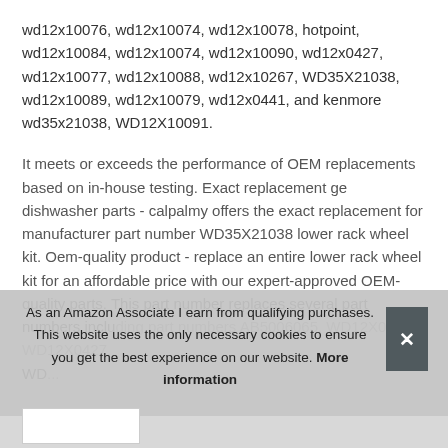wd12x10076, wd12x10074, wd12x10078, hotpoint, wd12x10084, wd12x10074, wd12x10090, wd12x0427, wd12x10077, wd12x10088, wd12x10267, WD35X21038, wd12x10089, wd12x10079, wd12x0441, and kenmore wd35x21038, WD12X10091.
It meets or exceeds the performance of OEM replacements based on in-house testing. Exact replacement ge dishwasher parts - calpalmy offers the exact replacement for manufacturer part number WD35X21038 lower rack wheel kit. Oem-quality product - replace an entire lower rack wheel kit for an affordable price with our expert-approved OEM-quality parts. This part number replaces several part numbers inclu... AB5006065, WD12X0441, WD12X0427, WD...
As an Amazon Associate I earn from qualifying purchases. This website uses the only necessary cookies to ensure you get the best experience on our website. More information